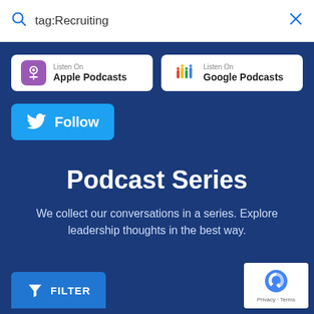tag:Recruiting
[Figure (logo): Listen On Apple Podcasts button with purple podcast icon]
[Figure (logo): Listen On Google Podcasts button with colorful bars icon]
[Figure (logo): Twitter Follow button with bird icon]
Podcast Series
We collect our conversations in a series. Explore leadership thoughts in the best way.
[Figure (infographic): Filter button with funnel icon]
[Figure (logo): reCAPTCHA badge with Privacy and Terms links]